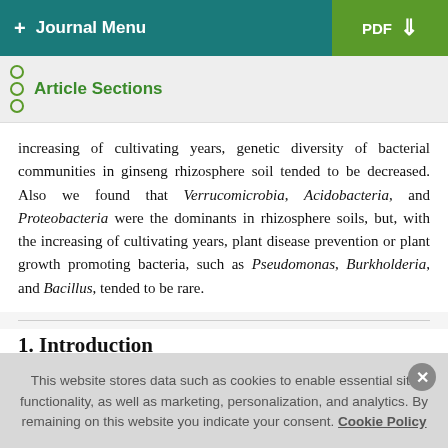+ Journal Menu | PDF ↓
Article Sections
increasing of cultivating years, genetic diversity of bacterial communities in ginseng rhizosphere soil tended to be decreased. Also we found that Verrucomicrobia, Acidobacteria, and Proteobacteria were the dominants in rhizosphere soils, but, with the increasing of cultivating years, plant disease prevention or plant growth promoting bacteria, such as Pseudomonas, Burkholderia, and Bacillus, tended to be rare.
1. Introduction
This website stores data such as cookies to enable essential site functionality, as well as marketing, personalization, and analytics. By remaining on this website you indicate your consent. Cookie Policy